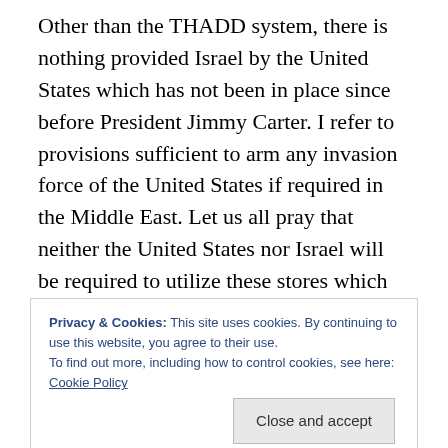Other than the THADD system, there is nothing provided Israel by the United States which has not been in place since before President Jimmy Carter. I refer to provisions sufficient to arm any invasion force of the United States if required in the Middle East. Let us all pray that neither the United States nor Israel will be required to utilize these stores which were put in place sometime after the Yom Kippur War of 1973. There is also the implied, even oft mentioned, support the United States would provide without debate or question were Israel facing an imminent threat. The average Israeli feels assured the United States
Privacy & Cookies: This site uses cookies. By continuing to use this website, you agree to their use.
To find out more, including how to control cookies, see here: Cookie Policy
Hopefully, these Israelis are watching the disaster taking